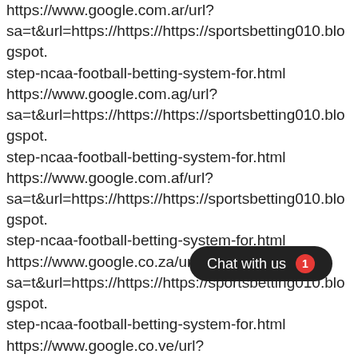https://www.google.com.ar/url?
sa=t&url=https://https://https://sportsbetting010.blogspot./step-ncaa-football-betting-system-for.html
https://www.google.com.ag/url?
sa=t&url=https://https://https://sportsbetting010.blogspot./step-ncaa-football-betting-system-for.html
https://www.google.com.af/url?
sa=t&url=https://https://https://sportsbetting010.blogspot./step-ncaa-football-betting-system-for.html
https://www.google.co.za/url?
sa=t&url=https://https://https://sportsbetting010.blogspot./step-ncaa-football-betting-system-for.html
https://www.google.co.ve/url?
sa=t&url=https://https://https://sportsbetting010.blogspot./step-ncaa-football-betting-system-for.html
https://www.google.co.uk/url?
sa=t&url=https://https://https://sportsbetting010.blogspot./step-ncaa-football-betting-system-for.html
[Figure (other): Chat with us button (dark rounded pill button) with red badge showing '1']